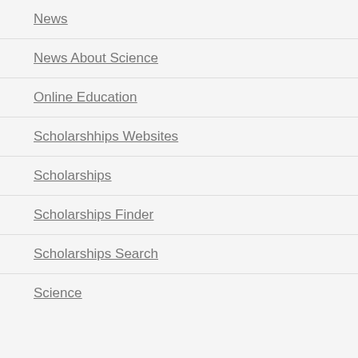News
News About Science
Online Education
Scholarshhips Websites
Scholarships
Scholarships Finder
Scholarships Search
Science